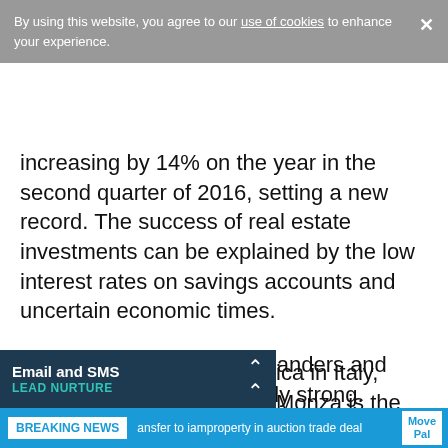By using this website, you agree to our use of cookies to enhance your experience.
increasing by 14% on the year in the second quarter of 2016, setting a new record. The success of real estate investments can be explained by the low interest rates on savings accounts and uncertain economic times.
The property markets in Flanders and Brussels remain particularly strong.
Italy
ica in Italy, Monza is the
ansfer to iamproperty in auction trade deal